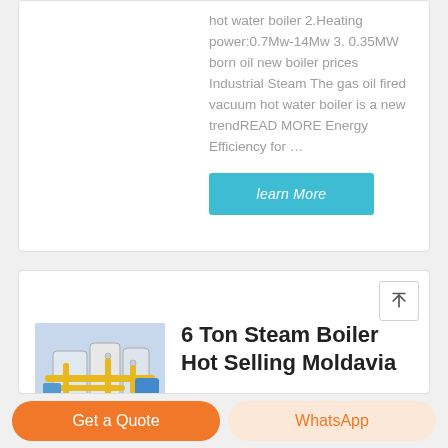hot water boiler 2.Heating power:0.7Mw-14Mw 3. 0.35MW born oil new boiler prices Industrial Steam The gas oil fired vacuum hot water boiler is a new trendREAD MORE Energy Efficiency for …
learn More
[Figure (photo): Industrial boiler facility with yellow pipes and blue machinery]
6 Ton Steam Boiler Hot Selling Moldavia
6 Ton Steam Boiler Hot Selling
Get a Quote
WhatsApp